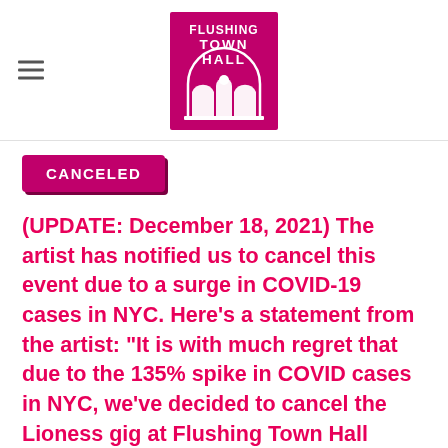[Figure (logo): Flushing Town Hall logo — magenta square with white text 'FLUSHING TOWN HALL' and an arch/window graphic]
CANCELED
(UPDATE: December 18, 2021) The artist has notified us to cancel this event due to a surge in COVID-19 cases in NYC. Here's a statement from the artist: "It is with much regret that due to the 135% spike in COVID cases in NYC, we've decided to cancel the Lioness gig at Flushing Town Hall tomorrow. We don't want to jeopardize the health and safety of the audience and the band at this